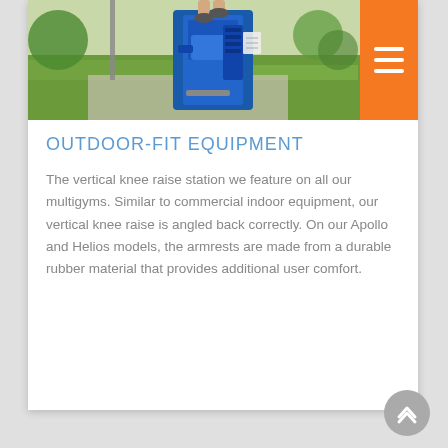[Figure (photo): Outdoor fitness equipment (vertical knee raise station) in blue color, set in a park with green grass and concrete path. Person's legs visible at top using the equipment.]
OUTDOOR-FIT EQUIPMENT
The vertical knee raise station we feature on all our multigyms. Similar to commercial indoor equipment, our vertical knee raise is angled back correctly. On our Apollo and Helios models, the armrests are made from a durable rubber material that provides additional user comfort.